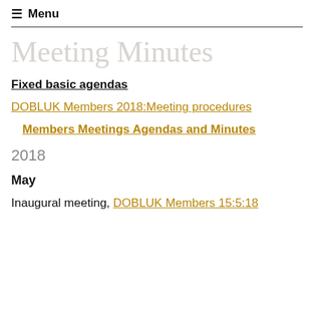≡ Menu
Meeting Minutes
Fixed basic agendas
DOBLUK Members 2018:Meeting procedures
Members Meetings Agendas and Minutes
2018
May
Inaugural meeting, DOBLUK Members 15:5:18